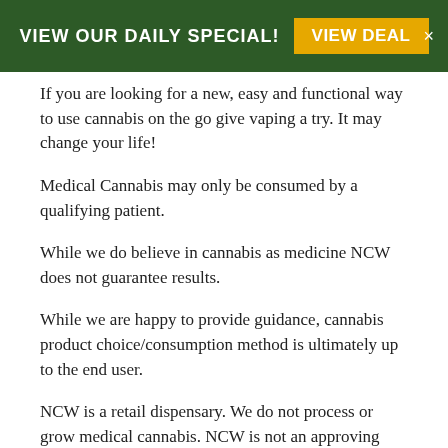VIEW OUR DAILY SPECIAL! VIEW DEAL ×
If you are looking for a new, easy and functional way to use cannabis on the go give vaping a try. It may change your life!
Medical Cannabis may only be consumed by a qualifying patient.
While we do believe in cannabis as medicine NCW does not guarantee results.
While we are happy to provide guidance, cannabis product choice/consumption method is ultimately up to the end user.
NCW is a retail dispensary. We do not process or grow medical cannabis. NCW is not an approving provider and we do not certify patients.
Sign up for NCW texts to see daily deals and get